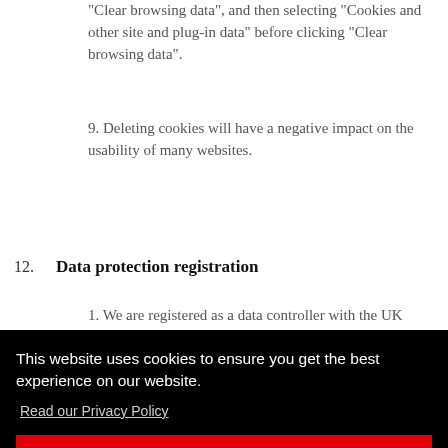"Clear browsing data", and then selecting "Cookies and other site and plug-in data" before clicking "Clear browsing data".
9. Deleting cookies will have a negative impact on the usability of many websites.
12. Data protection registration
1. We are registered as a data controller with the UK Information Commissioner's Office.
[Figure (screenshot): Cookie consent banner with black background. Text reads: 'This website uses cookies to ensure you get the best experience on our website.' with a 'Read our Privacy Policy' link and a red 'I understand' button.]
3. You can contact us: